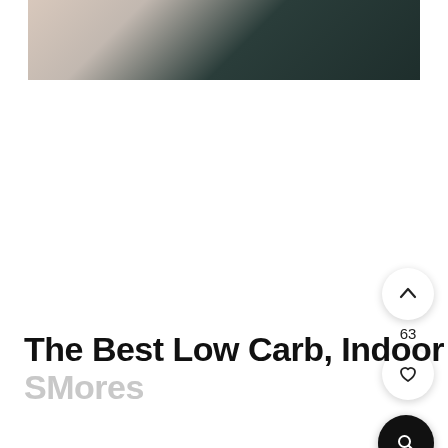[Figure (photo): Partial photo showing a hand/arm with light skin tone against a dark teal/green background, cropped at the top of the page]
The Best Low Carb, Indoor SMores